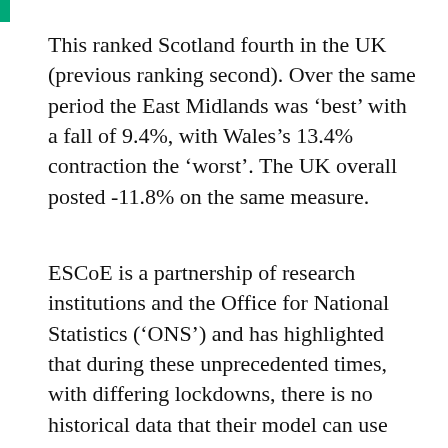This ranked Scotland fourth in the UK (previous ranking second). Over the same period the East Midlands was 'best' with a fall of 9.4%, with Wales's 13.4% contraction the 'worst'. The UK overall posted -11.8% on the same measure.
ESCoE is a partnership of research institutions and the Office for National Statistics ('ONS') and has highlighted that during these unprecedented times, with differing lockdowns, there is no historical data that their model can use